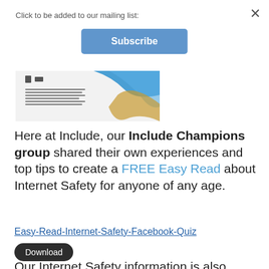Click to be added to our mailing list:
Subscribe
[Figure (screenshot): Thumbnail of an Internet Safety Easy Read document with a blue wave graphic and small icons]
Here at Include, our Include Champions group shared their own experiences and top tips to create a FREE Easy Read about Internet Safety for anyone of any age.
Easy-Read-Internet-Safety-Facebook-Quiz  Download
Our Internet Safety information is also